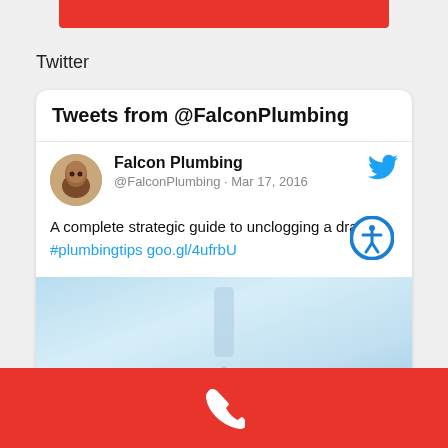[Figure (other): Red bar at top center of page]
Twitter
Tweets from @FalconPlumbing
Falcon Plumbing @FalconPlumbing · Mar 17, 2016
A complete strategic guide to unclogging a drain. #plumbingtips goo.gl/4ufrbU
[Figure (photo): Blue-toned image of water dripping from a pipe or drain]
Phone icon on red background footer bar